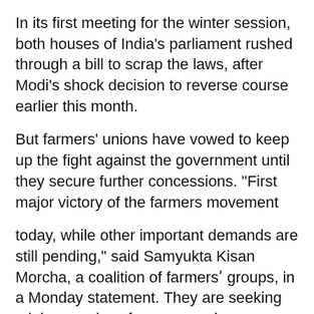In its first meeting for the winter session, both houses of India's parliament rushed through a bill to scrap the laws, after Modi's shock decision to reverse course earlier this month.
But farmers' unions have vowed to keep up the fight against the government until they secure further concessions. "First major victory of the farmers movement
today, while other important demands are still pending," said Samyukta Kisan Morcha, a coalition of farmersʹ groups, in a Monday statement. They are seeking minimum prices for crops and compensation for the families of hundreds of farmers they say died during the